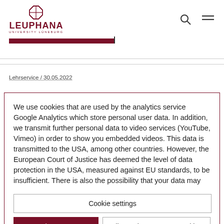[Figure (logo): Leuphana University Lüneburg logo with octagonal symbol above bold red text LEUPHANA and smaller text UNIVERSITY LÜNEBURG]
Lehrservice / 30.05.2022
We use cookies that are used by the analytics service Google Analytics which store personal user data. In addition, we transmit further personal data to video services (YouTube, Vimeo) in order to show you embedded videos. This data is transmitted to the USA, among other countries. However, the European Court of Justice has deemed the level of data protection in the USA, measured against EU standards, to be insufficient. There is also the possibility that your data may
Cookie settings
I agree
Allow only necessary cookies